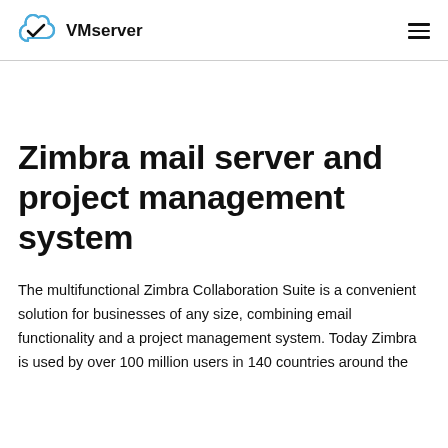[Figure (logo): VMserver logo: blue cloud outline with a checkmark inside, followed by bold text 'VMserver']
Zimbra mail server and project management system
The multifunctional Zimbra Collaboration Suite is a convenient solution for businesses of any size, combining email functionality and a project management system. Today Zimbra is used by over 100 million users in 140 countries around the